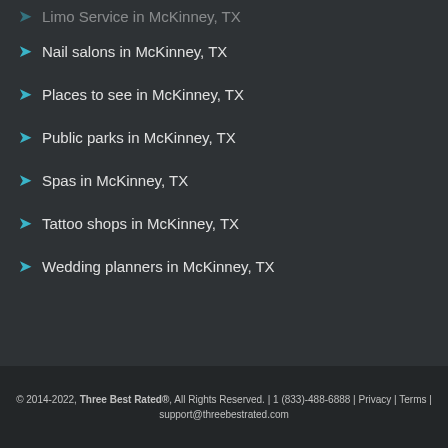Nail salons in McKinney, TX
Places to see in McKinney, TX
Public parks in McKinney, TX
Spas in McKinney, TX
Tattoo shops in McKinney, TX
Wedding planners in McKinney, TX
© 2014-2022, Three Best Rated®, All Rights Reserved. | 1 (833)-488-6888 | Privacy | Terms | support@threebestrated.com